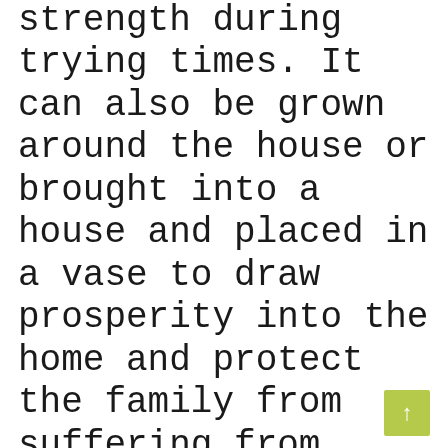Echinacea will provide inner strength during trying times. It can also be grown around the house or brought into a house and placed in a vase to draw prosperity into the home and protect the family from suffering from poverty. Pagans believe Echinacea to be an appropriate flower for offerings, especially to place spirits and river God(dess)es. In witchcraft it is believed that